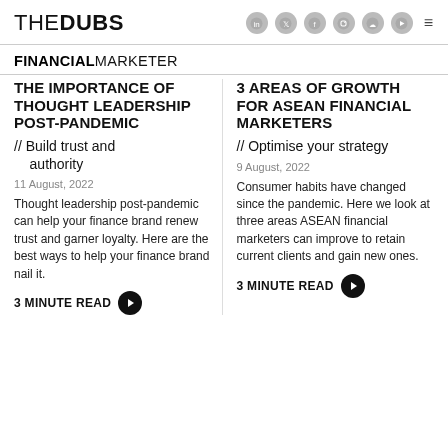THEDUBS
FINANCIAL MARKETER
THE IMPORTANCE OF THOUGHT LEADERSHIP POST-PANDEMIC
// Build trust and authority
11 August, 2022
Thought leadership post-pandemic can help your finance brand renew trust and garner loyalty. Here are the best ways to help your finance brand nail it.
3 MINUTE READ
3 AREAS OF GROWTH FOR ASEAN FINANCIAL MARKETERS
// Optimise your strategy
9 August, 2022
Consumer habits have changed since the pandemic. Here we look at three areas ASEAN financial marketers can improve to retain current clients and gain new ones.
3 MINUTE READ